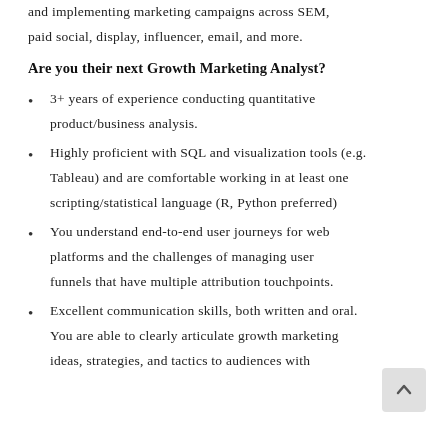and implementing marketing campaigns across SEM, paid social, display, influencer, email, and more.
Are you their next Growth Marketing Analyst?
3+ years of experience conducting quantitative product/business analysis.
Highly proficient with SQL and visualization tools (e.g. Tableau) and are comfortable working in at least one scripting/statistical language (R, Python preferred)
You understand end-to-end user journeys for web platforms and the challenges of managing user funnels that have multiple attribution touchpoints.
Excellent communication skills, both written and oral. You are able to clearly articulate growth marketing ideas, strategies, and tactics to audiences with